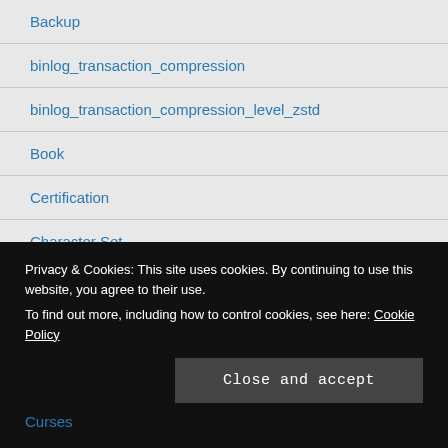Backup
binlog_transaction_compression
binlog_transaction_compression_level_zstd
Book
Certification
Character Set
Cloud
Common Table Expression (CTE)
Conf…
Privacy & Cookies: This site uses cookies. By continuing to use this website, you agree to their use.
To find out more, including how to control cookies, see here: Cookie Policy
Curses